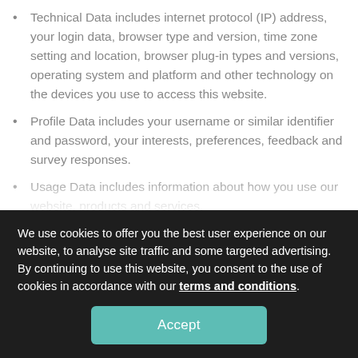Technical Data includes internet protocol (IP) address, your login data, browser type and version, time zone setting and location, browser plug-in types and versions, operating system and platform and other technology on the devices you use to access this website.
Profile Data includes your username or similar identifier and password, your interests, preferences, feedback and survey responses.
Usage Data includes information about how you use our website, products and services.
We use cookies to offer you the best user experience on our website, to analyse site traffic and some targeted advertising. By continuing to use this website, you consent to the use of cookies in accordance with our terms and conditions.